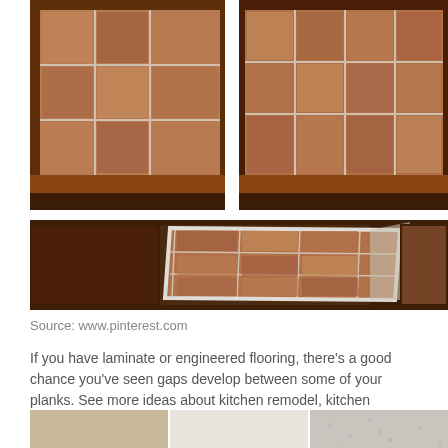[Figure (photo): Three photos of floor tiling work: top-left shows terracotta/brown floor tiles with white grout next to wood laminate flooring; top-right shows similar tile and wood flooring from a different angle; bottom shows a peel-and-stick tile mat being placed or lifted on a wood floor.]
Source: www.pinterest.com
If you have laminate or engineered flooring, there’s a good chance you’ve seen gaps develop between some of your planks. See more ideas about kitchen remodel, kitchen inspirations, kitchen.
[Figure (photo): Three color swatches showing different flooring or paint colors: a warm beige/tan on the left, a light cream/white in the center, and a textured light grey on the right.]